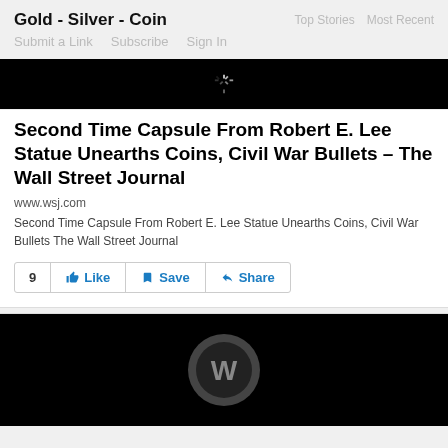Gold - Silver - Coin | Top Stories  Most Recent | Submit a Link  Subscribe  Sign In
[Figure (screenshot): Black image with loading spinner]
Second Time Capsule From Robert E. Lee Statue Unearths Coins, Civil War Bullets – The Wall Street Journal
www.wsj.com
Second Time Capsule From Robert E. Lee Statue Unearths Coins, Civil War Bullets  The Wall Street Journal
9  Like  Save  Share
[Figure (screenshot): Black image with WordPress logo]